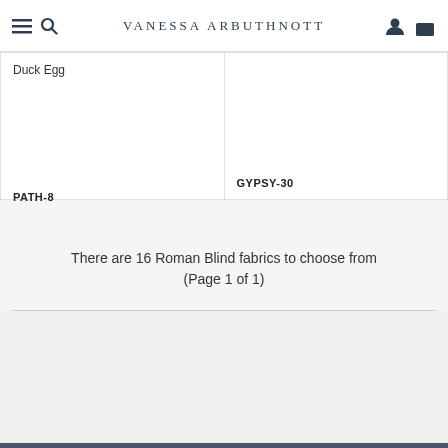Vanessa Arbuthnott
Duck Egg
PATH-8
GYPSY-30
There are 16 Roman Blind fabrics to choose from (Page 1 of 1)